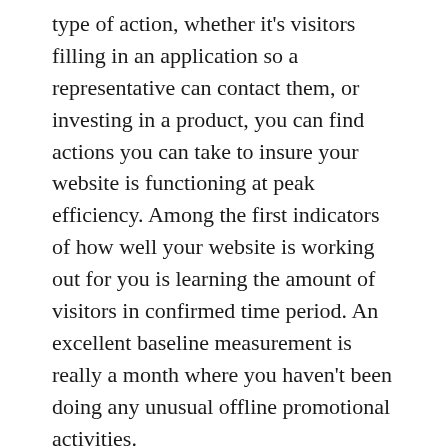type of action, whether it's visitors filling in an application so a representative can contact them, or investing in a product, you can find actions you can take to insure your website is functioning at peak efficiency. Among the first indicators of how well your website is working out for you is learning the amount of visitors in confirmed time period. An excellent baseline measurement is really a month where you haven't been doing any unusual offline promotional activities.
However, because hoards of individuals have passed during your gates will not mean your website is prosperous. Usually, you need those people to do something there. It really is equally vital that you monitor the amount of